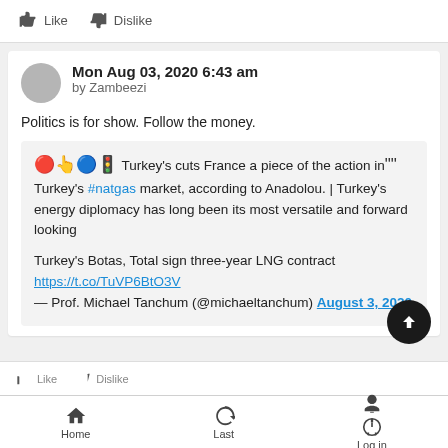Like   Dislike
Mon Aug 03, 2020 6:43 am
by Zambeezi
Politics is for show. Follow the money.
🇹🇷👆🇫🇷🚦 Turkey's cuts France a piece of the action in" " Turkey's #natgas market, according to Anadolou. | Turkey's energy diplomacy has long been its most versatile and forward looking

Turkey's Botas, Total sign three-year LNG contract
https://t.co/TuVP6BtO3V
— Prof. Michael Tanchum (@michaeltanchum) August 3, 2020
Home   Last   Log in